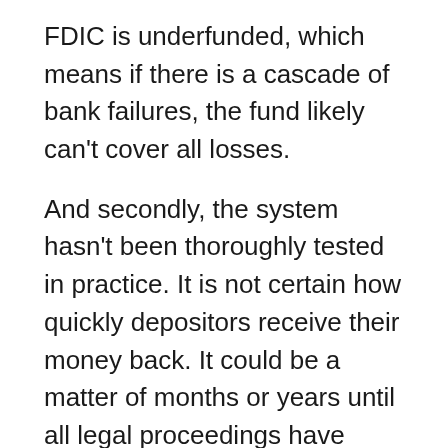FDIC is underfunded, which means if there is a cascade of bank failures, the fund likely can't cover all losses.
And secondly, the system hasn't been thoroughly tested in practice. It is not certain how quickly depositors receive their money back. It could be a matter of months or years until all legal proceedings have concluded.
Many countries have bank deposit insurance similar to the FDIC in the United States with varying insurance coverage. Check whether your country offers deposit insurance and how much.
Is Money Safe In Banks During A